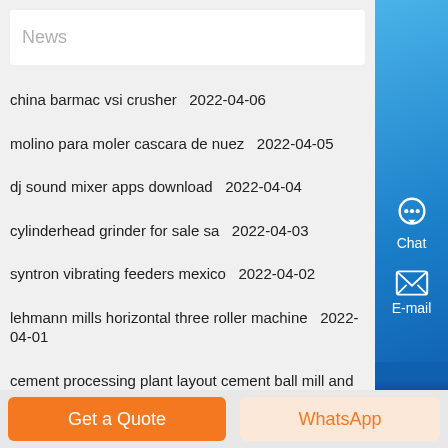News
china barmac vsi crusher  2022-04-06
molino para moler cascara de nuez  2022-04-05
dj sound mixer apps download  2022-04-04
cylinderhead grinder for sale sa  2022-04-03
syntron vibrating feeders mexico  2022-04-02
lehmann mills horizontal three roller machine  2022-04-01
cement processing plant layout cement ball mill and crusher  2022-03-31
cone crushers created  2022-03-30
molinos para moler silicona  2022-03-29